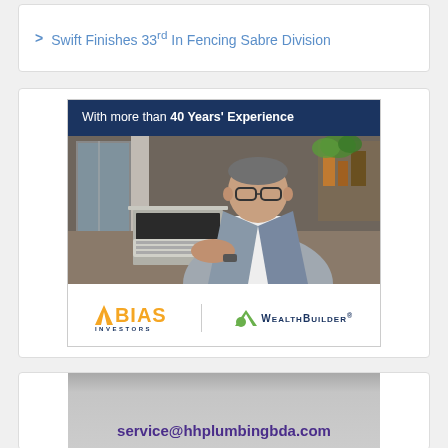Swift Finishes 33rd In Fencing Sabre Division
[Figure (illustration): Advertisement for BIAS Investors and WealthBuilder showing a professionally dressed older man working on a laptop. Header reads 'With more than 40 Years' Experience'. Logos for BIAS INVESTORS and WEALTHBUILDER are shown at the bottom.]
service@hhplumbingbda.com